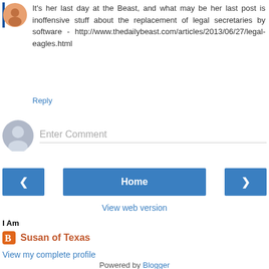It's her last day at the Beast, and what may be her last post is inoffensive stuff about the replacement of legal secretaries by software - http://www.thedailybeast.com/articles/2013/06/27/legal-eagles.html
Reply
Enter Comment
Home
View web version
I Am
Susan of Texas
View my complete profile
Powered by Blogger